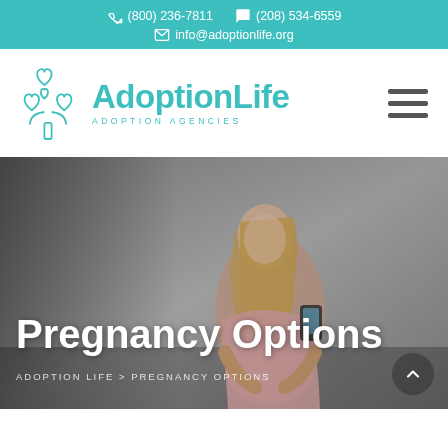(800) 236-7811  (208) 534-6559  info@adoptionlife.org
[Figure (logo): AdoptionLife Adoption Agencies logo with stylized tree made of heart shapes in teal, with text 'AdoptionLife' and 'ADOPTION AGENCIES']
Pregnancy Options
ADOPTION LIFE > PREGNANCY OPTIONS